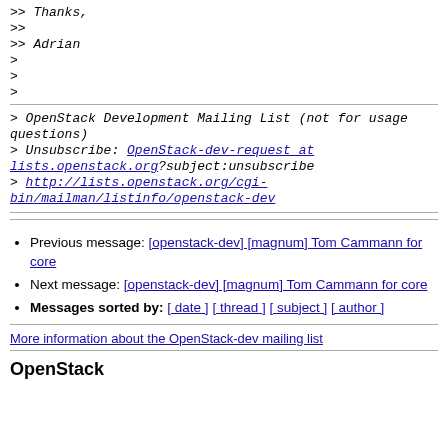>> Thanks,
>>
>> Adrian
>
>
>
> OpenStack Development Mailing List (not for usage questions)
> Unsubscribe: OpenStack-dev-request at lists.openstack.org?subject:unsubscribe
> http://lists.openstack.org/cgi-bin/mailman/listinfo/openstack-dev
Previous message: [openstack-dev] [magnum] Tom Cammann for core
Next message: [openstack-dev] [magnum] Tom Cammann for core
Messages sorted by: [ date ] [ thread ] [ subject ] [ author ]
More information about the OpenStack-dev mailing list
OpenStack